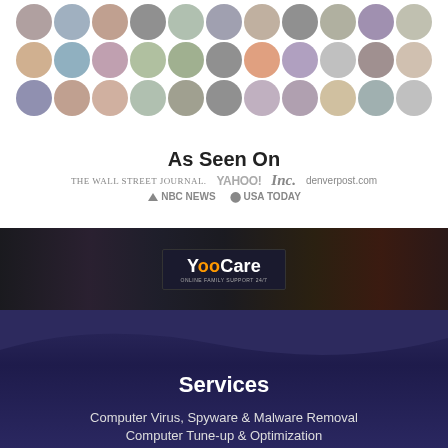[Figure (photo): Grid of circular profile photos of various people arranged in 3 rows of 11 circles each]
As Seen On
[Figure (infographic): Media logos: The Wall Street Journal, Yahoo!, Inc., denverpost.com, NBC News, USA TODAY]
[Figure (photo): Billboard image showing YooCare sign in a city setting with dark background]
Services
Computer Virus, Spyware & Malware Removal
Computer Tune-up & Optimization